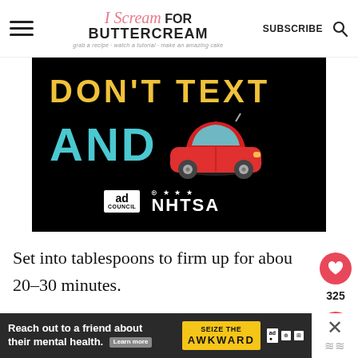I Scream for Buttercream — grab a recipe · watch a tutorial · make an amazing cake | SUBSCRIBE
[Figure (photo): Public service advertisement on black background showing 'DON'T TEXT AND [car emoji]' with ad council and NHTSA logos]
Set into tablespoons to firm up for about 20–30 minutes.
[Figure (infographic): Bottom banner ad: 'Reach out to a friend about their mental health. Learn more' with 'SEIZE THE AWKWARD' banner and ad council logos]